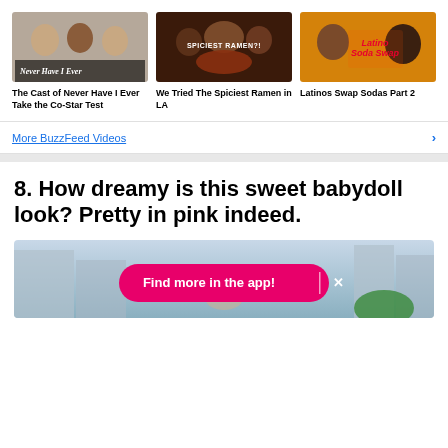[Figure (screenshot): Thumbnail for 'The Cast of Never Have I Ever Take the Co-Star Test' video showing people with 'Never Have I Ever' text overlay]
The Cast of Never Have I Ever Take the Co-Star Test
[Figure (screenshot): Thumbnail for 'We Tried The Spiciest Ramen in LA' video showing people eating ramen with 'SPICIEST RAMEN?!' text]
We Tried The Spiciest Ramen in LA
[Figure (screenshot): Thumbnail for 'Latinos Swap Sodas Part 2' video with orange background and 'Latino Soda Swap' text]
Latinos Swap Sodas Part 2
More BuzzFeed Videos
8. How dreamy is this sweet babydoll look? Pretty in pink indeed.
[Figure (photo): Partial photo of person outdoors with city buildings behind, with 'Find more in the app!' pink button overlay]